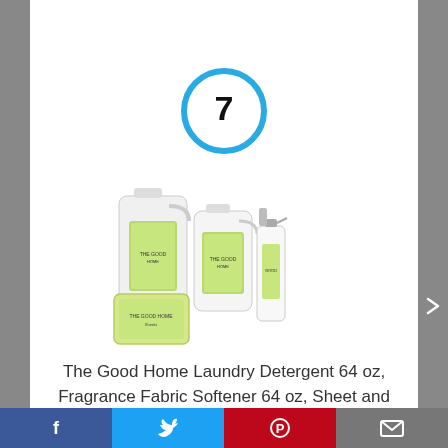[Figure (other): Top white section with partial content from previous item (item 6 area), mostly blank white space with a thin blue link visible at top]
[Figure (illustration): Blue circle with number 7 inside, serving as a list item number badge]
[Figure (photo): Product photo showing The Good Home laundry detergent bottles (large jugs), fabric softener, sheets, and spray bottle with green labels]
The Good Home Laundry Detergent 64 oz, Fragrance Fabric Softener 64 oz, Sheet and Clothing...
[Figure (infographic): Social media share bar at bottom with Facebook, Twitter, Pinterest and email icons]